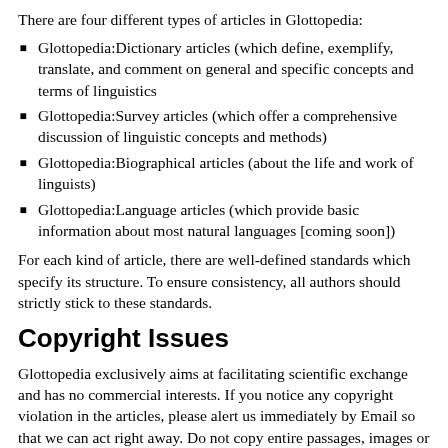There are four different types of articles in Glottopedia:
Glottopedia:Dictionary articles (which define, exemplify, translate, and comment on general and specific concepts and terms of linguistics
Glottopedia:Survey articles (which offer a comprehensive discussion of linguistic concepts and methods)
Glottopedia:Biographical articles (about the life and work of linguists)
Glottopedia:Language articles (which provide basic information about most natural languages [coming soon])
For each kind of article, there are well-defined standards which specify its structure. To ensure consistency, all authors should strictly stick to these standards.
Copyright Issues
Glottopedia exclusively aims at facilitating scientific exchange and has no commercial interests. If you notice any copyright violation in the articles, please alert us immediately by Email so that we can act right away. Do not copy entire passages, images or other copyrighted material into a Glottopedia article. If information is taken from copyrighted works, an indication of the source in the article is